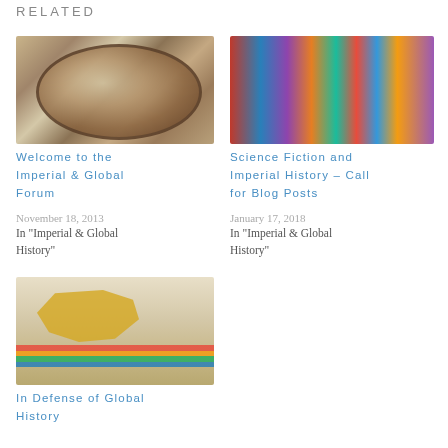RELATED
[Figure (photo): Overhead view of an antique globe showing world map in brown and cream tones]
Welcome to the Imperial & Global Forum
November 18, 2013
In "Imperial & Global History"
[Figure (photo): Collection of science fiction book covers including Asimov and other authors]
Science Fiction and Imperial History – Call for Blog Posts
January 17, 2018
In "Imperial & Global History"
[Figure (photo): World map illustration with yellow landmasses and colorful horizontal stripes at the bottom on a grey background]
In Defense of Global History